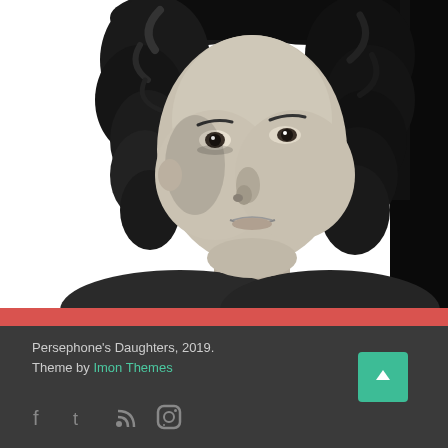[Figure (photo): Black and white portrait photograph of a middle-aged woman with curly dark hair, looking slightly upward, photographed against a white background. The photo is cropped at the shoulders.]
Persephone's Daughters, 2019.
Theme by Imon Themes
[Figure (infographic): Social media icons: Facebook, Twitter, RSS feed, and Instagram, displayed in gray on a dark background footer.]